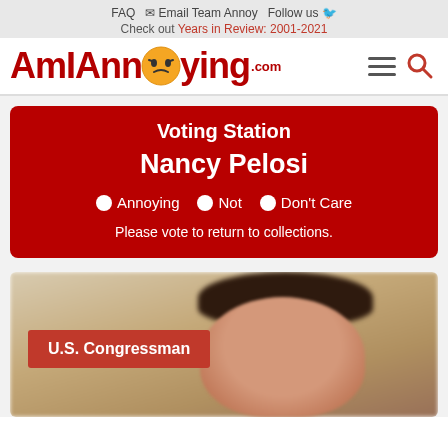FAQ  Email Team Annoy  Follow us
Check out Years in Review: 2001-2021
AmIAnnoying.com
Voting Station
Nancy Pelosi
Annoying  Not  Don't Care
Please vote to return to collections.
[Figure (photo): Photo of Nancy Pelosi with a red badge reading U.S. Congressman]
U.S. Congressman